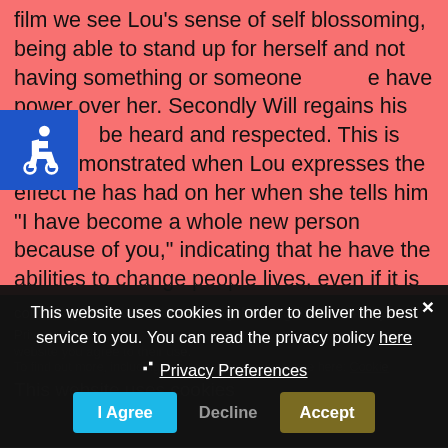film we see Lou's sense of self blossoming, being able to stand up for herself and not having something or someone have power over her. Secondly Will regains his ability to be heard and respected. This is first demonstrated when Lou expresses the effect he has had on her when she tells him "I have become a whole new person because of you," indicating that he have the abilities to change people lives, even if it is unconsciously. A second way in which he regains authority is by having the final say on the direction of his life. Although Will is tried to be convinced that he
[Figure (other): Accessibility icon (wheelchair symbol) in white on blue background]
could only have a life worth living if he regains the ability to...
Privacy... this website you agree to their use.
To find out more, including how to control cookies, see here: Cookie...
This website uses cookies
This website uses cookies in order to deliver the best service to you. You can read the privacy policy here
Privacy Preferences
I Agree
Decline
Accept